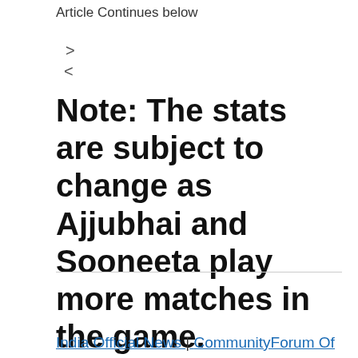Article Continues below
> <
Note: The stats are subject to change as Ajjubhai and Sooneeta play more matches in the game.
India Official News | CommunityForum Of